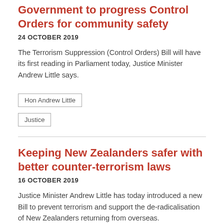Government to progress Control Orders for community safety
24 OCTOBER 2019
The Terrorism Suppression (Control Orders) Bill will have its first reading in Parliament today, Justice Minister Andrew Little says.
Hon Andrew Little
Justice
Keeping New Zealanders safer with better counter-terrorism laws
16 OCTOBER 2019
Justice Minister Andrew Little has today introduced a new Bill to prevent terrorism and support the de-radicalisation of New Zealanders returning from overseas.